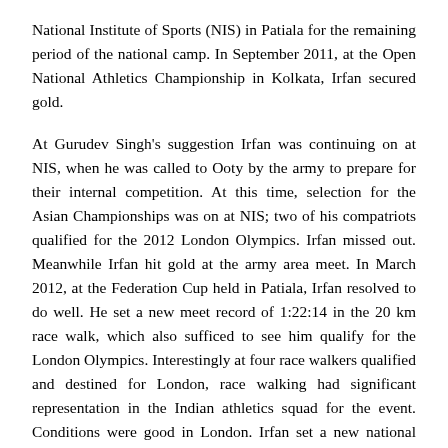National Institute of Sports (NIS) in Patiala for the remaining period of the national camp. In September 2011, at the Open National Athletics Championship in Kolkata, Irfan secured gold.
At Gurudev Singh's suggestion Irfan was continuing on at NIS, when he was called to Ooty by the army to prepare for their internal competition. At this time, selection for the Asian Championships was on at NIS; two of his compatriots qualified for the 2012 London Olympics. Irfan missed out. Meanwhile Irfan hit gold at the army area meet. In March 2012, at the Federation Cup held in Patiala, Irfan resolved to do well. He set a new meet record of 1:22:14 in the 20 km race walk, which also sufficed to see him qualify for the London Olympics. Interestingly at four race walkers qualified and destined for London, race walking had significant representation in the Indian athletics squad for the event. Conditions were good in London. Irfan set a new national record in 20 km race walk at the Olympics; 1:20:21. He